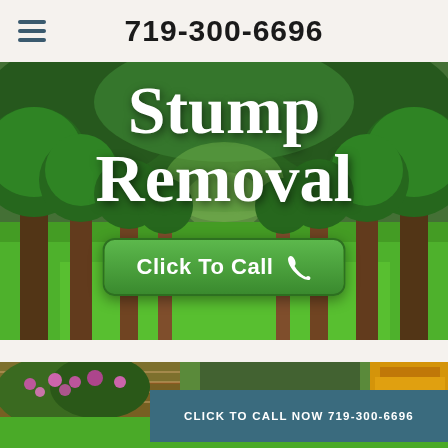719-300-6696
[Figure (photo): Park avenue lined with large green trees on a bright green lawn, used as hero background for stump removal service website]
Stump Removal
Click To Call
[Figure (photo): Garden scene with brick wall, flowering bushes, and a yellow stump grinding machine on the right, with a teal call-to-action bar overlay]
CLICK TO CALL NOW 719-300-6696